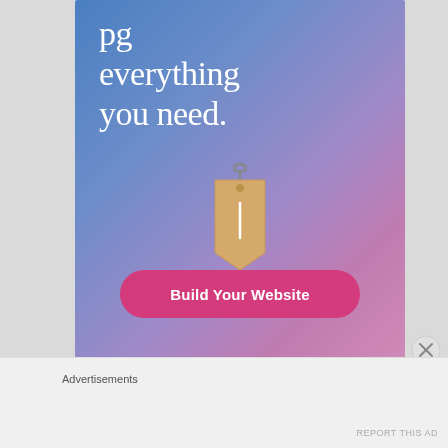[Figure (illustration): Web hosting advertisement with blue-to-pink gradient background, white serif text reading 'everything you need.', a price tag illustration, and a pink 'Build Your Website' button]
Advertisements
REPORT THIS AD